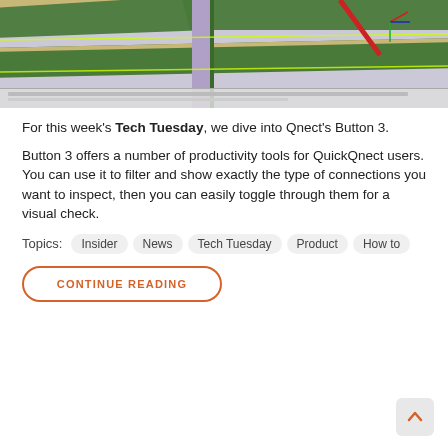[Figure (screenshot): CAD software screenshot showing a structural connection with green framing members, a purple/lavender vertical column, and a red diagonal element. Coordinate axis indicator visible in upper right corner. Toolbar visible at the bottom of the screenshot.]
For this week's Tech Tuesday, we dive into Qnect's Button 3.
Button 3 offers a number of productivity tools for QuickQnect users. You can use it to filter and show exactly the type of connections you want to inspect, then you can easily toggle through them for a visual check.
Topics: Insider   News   Tech Tuesday   Product   How to
CONTINUE READING